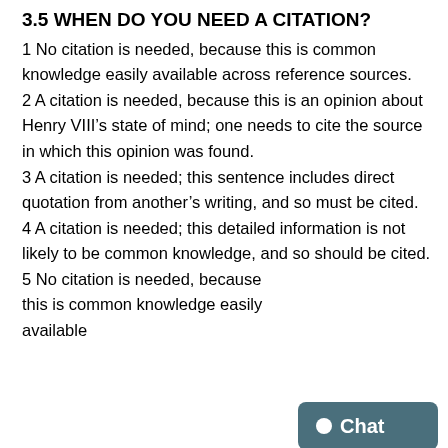3.5 WHEN DO YOU NEED A CITATION?
1 No citation is needed, because this is common knowledge easily available across reference sources.
2 A citation is needed, because this is an opinion about Henry VIII’s state of mind; one needs to cite the source in which this opinion was found.
3 A citation is needed; this sentence includes direct quotation from another’s writing, and so must be cited.
4 A citation is needed; this detailed information is not likely to be common knowledge, and so should be cited.
5 No citation is needed, because this is common knowledge easily available